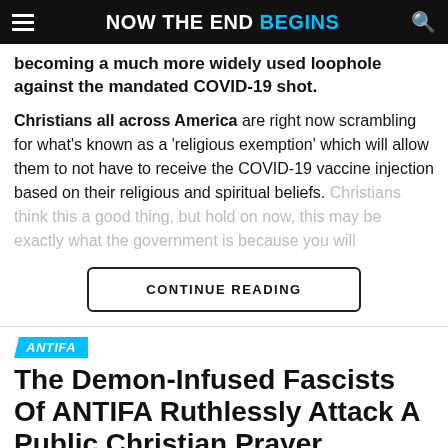NOW THE END BEGINS
becoming a much more widely used loophole against the mandated COVID-19 shot.
Christians all across America are right now scrambling for what's known as a 'religious exemption' which will allow them to not have to receive the COVID-19 vaccine injection based on their religious and spiritual beliefs. Christians think this a good thing, but hold on now, this may be exactly what the government is because you will
CONTINUE READING
ANTIFA
The Demon-Infused Fascists Of ANTIFA Ruthlessly Attack A Public Christian Prayer Gathering